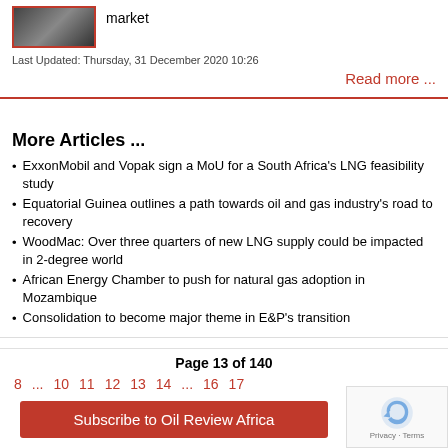[Figure (photo): Thumbnail photo of people standing, with red border]
market
Last Updated: Thursday, 31 December 2020 10:26
Read more ...
More Articles ...
ExxonMobil and Vopak sign a MoU for a South Africa's LNG feasibility study
Equatorial Guinea outlines a path towards oil and gas industry's road to recovery
WoodMac: Over three quarters of new LNG supply could be impacted in 2-degree world
African Energy Chamber to push for natural gas adoption in Mozambique
Consolidation to become major theme in E&P's transition
Page 13 of 140
8 ... 10 11 12 13 14 ... 16 17
Subscribe to Oil Review Africa